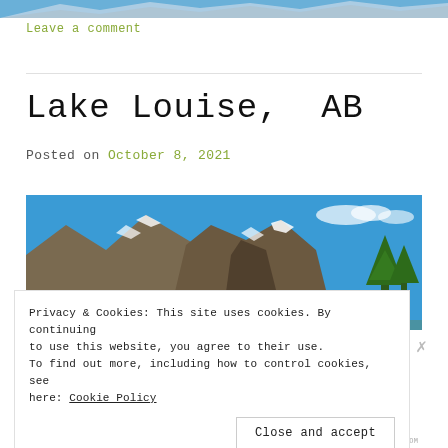[Figure (photo): Partial top image strip showing mountain/snow scene cropped at top of page]
Leave a comment
Lake Louise, AB
Posted on October 8, 2021
[Figure (photo): Photograph of rocky mountain peaks with snow patches against a bright blue sky, with evergreen trees visible at the right edge]
Privacy & Cookies: This site uses cookies. By continuing to use this website, you agree to their use.
To find out more, including how to control cookies, see here: Cookie Policy
Close and accept